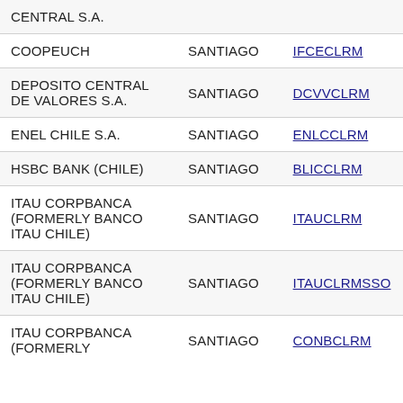| Name | City | Code |
| --- | --- | --- |
| CENTRAL S.A. |  |  |
| COOPEUCH | SANTIAGO | IFCECLRM |
| DEPOSITO CENTRAL DE VALORES S.A. | SANTIAGO | DCVVCLRM |
| ENEL CHILE S.A. | SANTIAGO | ENLCCLRM |
| HSBC BANK (CHILE) | SANTIAGO | BLICCLRM |
| ITAU CORPBANCA (FORMERLY BANCO ITAU CHILE) | SANTIAGO | ITAUCLRM |
| ITAU CORPBANCA (FORMERLY BANCO ITAU CHILE) | SANTIAGO | ITAUCLRMSSO |
| ITAU CORPBANCA (FORMERLY | SANTIAGO | CONBCLRM |